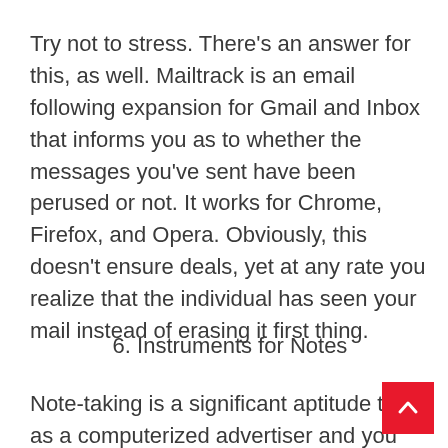Try not to stress. There’s an answer for this, as well. Mailtrack is an email following expansion for Gmail and Inbox that informs you as to whether the messages you’ve sent have been perused or not. It works for Chrome, Firefox, and Opera. Obviously, this doesn’t ensure deals, yet at any rate you realize that the individual has seen your mail instead of erasing it first thing.
6. Instruments for Notes
Note-taking is a significant aptitude to h as a computerized advertiser and you would